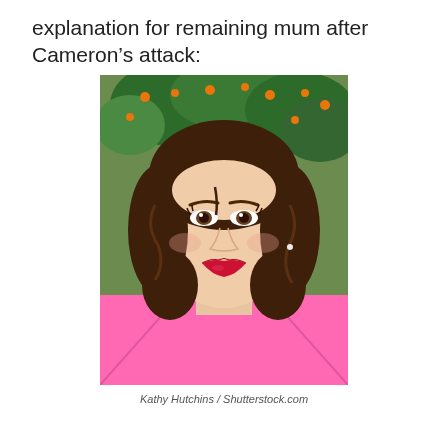explanation for remaining mum after Cameron's attack:
[Figure (photo): Portrait photo of a young woman with shoulder-length wavy brown hair, wearing a bright pink blazer over a red top, with red lipstick, smiling slightly at the camera. Background shows orange trees and greenery. Photo credit: Kathy Hutchins / Shutterstock.com]
Kathy Hutchins / Shutterstock.com